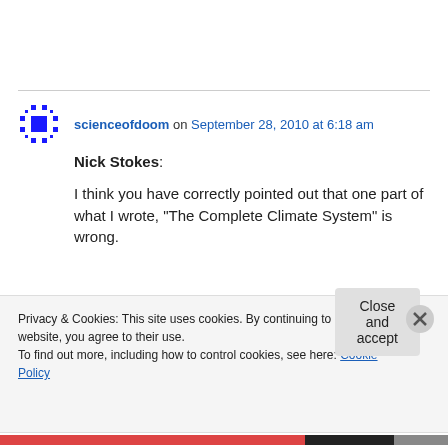scienceofdoom on September 28, 2010 at 6:18 am
Nick Stokes:

I think you have correctly pointed out that one part of what I wrote, "The Complete Climate System" is wrong.
Privacy & Cookies: This site uses cookies. By continuing to use this website, you agree to their use.
To find out more, including how to control cookies, see here: Cookie Policy
Close and accept